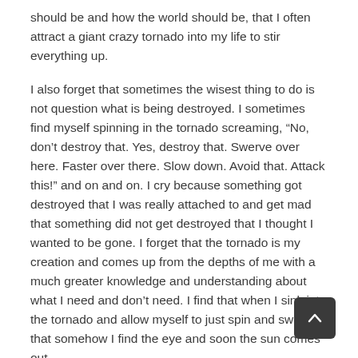should be and how the world should be, that I often attract a giant crazy tornado into my life to stir everything up.
I also forget that sometimes the wisest thing to do is not question what is being destroyed. I sometimes find myself spinning in the tornado screaming, “No, don’t destroy that. Yes, destroy that. Swerve over here. Faster over there. Slow down. Avoid that. Attack this!” and on and on. I cry because something got destroyed that I was really attached to and get mad that something did not get destroyed that I thought I wanted to be gone. I forget that the tornado is my creation and comes up from the depths of me with a much greater knowledge and understanding about what I need and don’t need. I find that when I sink into the tornado and allow myself to just spin and swirl, that somehow I find the eye and soon the sun comes out.
This all leads me to the question, “Is my chaos real chaos?” Or, is it the necessary energy needed to reorganize my priorities and beliefs so that I can unleash greater and greater potentials within myself? Maybe the chaos of a tornado is not...